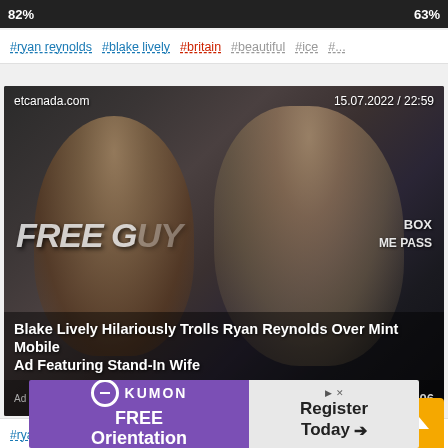82% ... 63%
#ryan reynolds #blake lively #britain #beautiful #ice #...
[Figure (photo): Photo of Blake Lively and Ryan Reynolds at a Free Guy movie premiere event, in front of an Xbox Game Pass backdrop. Source: etcanada.com, date: 15.07.2022 / 22:59]
Blake Lively Hilariously Trolls Ryan Reynolds Over Mint Mobile Ad Featuring Stand-In Wife
87% ... 206
#ryan reynolds #blake lively #instagram #mobile #tar...
[Figure (infographic): Kumon FREE Orientation advertisement banner with Register Today arrow button]